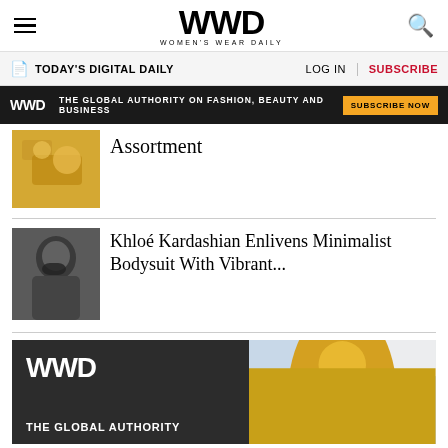WWD WOMEN'S WEAR DAILY
TODAY'S DIGITAL DAILY | LOG IN | SUBSCRIBE
[Figure (infographic): WWD ad banner: THE GLOBAL AUTHORITY ON FASHION, BEAUTY AND BUSINESS — SUBSCRIBE NOW]
[Figure (photo): Thumbnail image of food/items in yellow tones]
Assortment
[Figure (photo): Thumbnail photo of Khloé Kardashian wearing sunglasses and denim]
Khloé Kardashian Enlivens Minimalist Bodysuit With Vibrant...
[Figure (infographic): WWD ad: THE GLOBAL AUTHORITY — dark background with model holding white umbrella wearing yellow outfit]